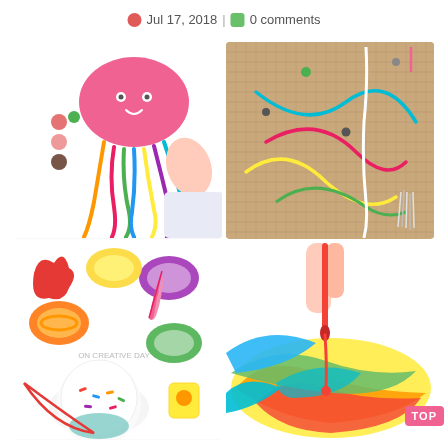Jul 17, 2018 | 0 comments
[Figure (photo): Baby playing with a colorful jellyfish craft made of pink foam and colorful pipe cleaners and yarn, with beads scattered around]
[Figure (photo): Burlap board with colorful yarn threaded through holes, a sewing/lacing activity for children]
[Figure (photo): Colorful sorting trays with rubber bands, small toys, feathers, and a sprinkle dough ball, a sensory sorting activity]
[Figure (photo): Child's hand dripping red paint onto a swirled rainbow of colors on a white surface, a paint mixing activity]